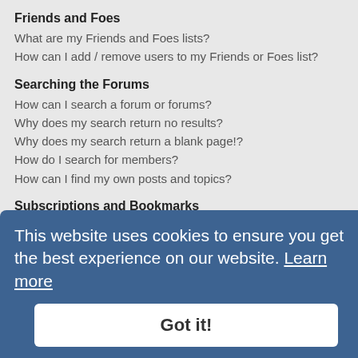Friends and Foes
What are my Friends and Foes lists?
How can I add / remove users to my Friends or Foes list?
Searching the Forums
How can I search a forum or forums?
Why does my search return no results?
Why does my search return a blank page!?
How do I search for members?
How can I find my own posts and topics?
Subscriptions and Bookmarks
What is the difference between bookmarking and subscribing?
How do I bookmark or subscribe to specific topics?
How do I subscribe to specific forums?
How do I remove my subscriptions?
Attachments
What attachments are allowed on this board?
How do I find all my attachments?
phpBB Issues
Who wrote this bulletin board?
Why isn't X feature available?
Who do I contact about abusive and/or legal matters related to this board?
This website uses cookies to ensure you get the best experience on our website. Learn more
Got it!